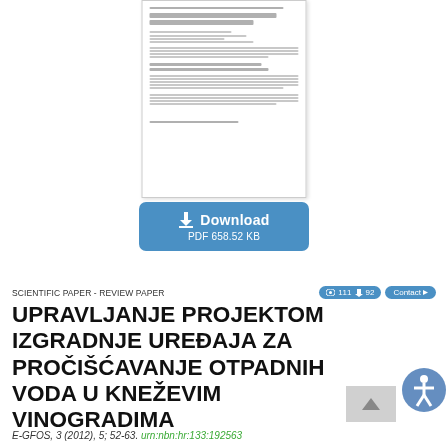[Figure (screenshot): Thumbnail preview of the paper PDF page showing title, authors, abstract and footer text in a bordered box]
Download
PDF 658.52 KB
SCIENTIFIC PAPER - REVIEW PAPER
111  92  Contact
UPRAVLJANJE PROJEKTOM IZGRADNJE UREĐAJA ZA PROČIŠĆAVANJE OTPADNIH VODA U KNEŽEVIM VINOGRADIMA
E-GFOS, 3 (2012), 5; 52-63.  urn:nbn:hr:133:192563